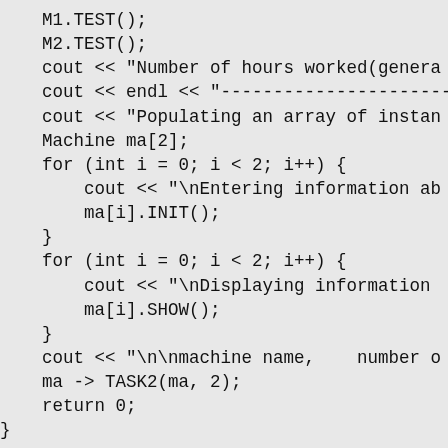M1.TEST();
    M2.TEST();
    cout << "Number of hours worked(genera
    cout << endl << "------------------------
    cout << "Populating an array of instan
    Machine ma[2];
    for (int i = 0; i < 2; i++) {
        cout << "\nEntering information ab
        ma[i].INIT();
    }
    for (int i = 0; i < 2; i++) {
        cout << "\nDisplaying information
        ma[i].SHOW();
    }
    cout << "\n\nmachine name,    number o
    ma -> TASK2(ma, 2);
    return 0;
}